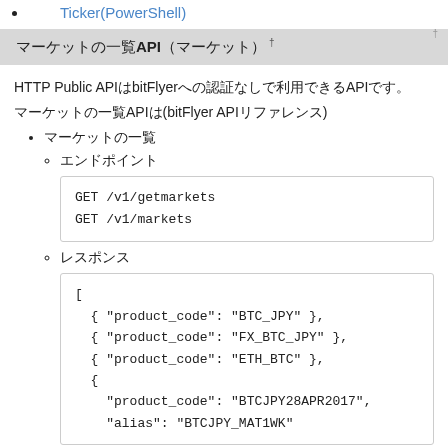Ticker(PowerShell)
マーケットの一覧API（マーケット） †
HTTP Public APIはbitFlyerへの認証なしで利用できるAPIです。
マーケットの一覧APIは(bitFlyer APIリファレンス)
マーケットの一覧
エンドポイント
GET /v1/getmarkets
GET /v1/markets
レスポンス
[
  { "product_code": "BTC_JPY" },
  { "product_code": "FX_BTC_JPY" },
  { "product_code": "ETH_BTC" },
  {
    "product_code": "BTCJPY28APR2017",
    "alias": "BTCJPY_MAT1WK"